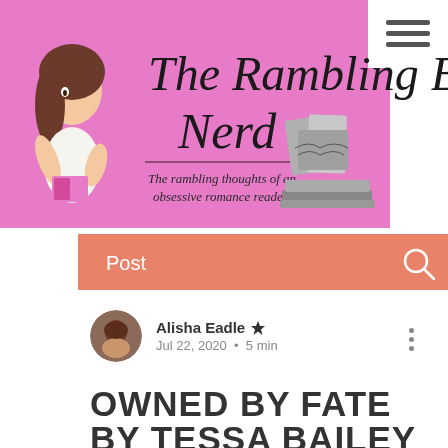[Figure (screenshot): Pink banner header for 'The Rambling Book Nerd' blog with cursive title text, cartoon girl illustration, stack of books illustration, subtitle 'The rambling thoughts of an obsessive romance reader', and a white hamburger menu button in the top right corner]
[Figure (screenshot): Salmon/coral navigation bar with 'Post' label on the left and a search (magnifying glass) icon on the right]
Alisha Eadle ♛
Jul 22, 2020  •  5 min
OWNED BY FATE BY TESSA BAILEY BOOK REVIEW